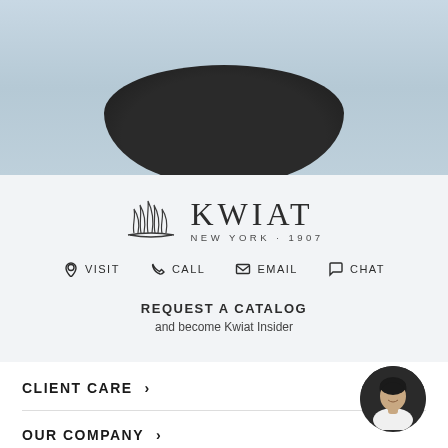[Figure (photo): Top portion of page showing a close-up photo of a dark leather shoe/loafer with light blue lining on a light blue-gray background]
[Figure (logo): Kwiat New York 1907 brand logo with crown emblem and serif wordmark]
VISIT   CALL   EMAIL   CHAT
REQUEST A CATALOG
and become Kwiat Insider
CLIENT CARE >
[Figure (photo): Circular avatar photo of a smiling woman with dark hair wearing a white top]
OUR COMPANY >